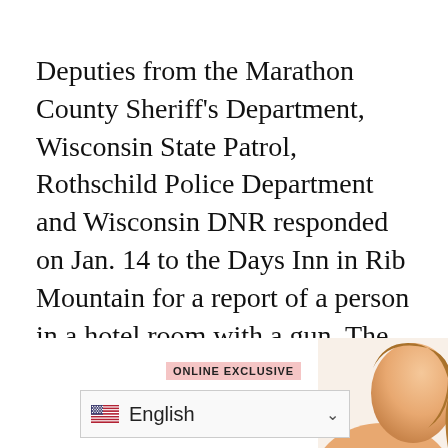Deputies from the Marathon County Sheriff's Department, Wisconsin State Patrol, Rothschild Police Department and Wisconsin DNR responded on Jan. 14 to the Days Inn in Rib Mountain for a report of a person in a hotel room with a gun. The suspect, later identified as Mulroy, was a guest of the hotel, had overstayed, and pulled out a firearm when asked by hotel management to leave the property, police said.
[Figure (screenshot): Online Exclusive label banner in pink/red, above a language selector dropdown showing English with a US flag icon and chevron, and a partial photo thumbnail in the bottom right corner.]